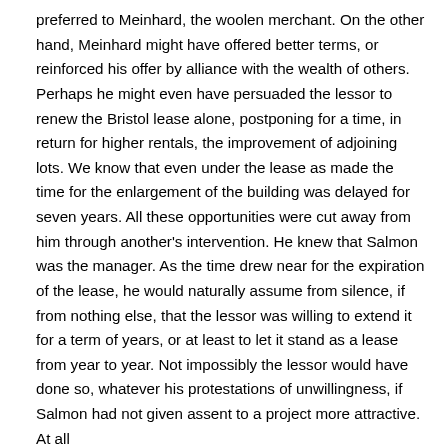preferred to Meinhard, the woolen merchant. On the other hand, Meinhard might have offered better terms, or reinforced his offer by alliance with the wealth of others. Perhaps he might even have persuaded the lessor to renew the Bristol lease alone, postponing for a time, in return for higher rentals, the improvement of adjoining lots. We know that even under the lease as made the time for the enlargement of the building was delayed for seven years. All these opportunities were cut away from him through another's intervention. He knew that Salmon was the manager. As the time drew near for the expiration of the lease, he would naturally assume from silence, if from nothing else, that the lessor was willing to extend it for a term of years, or at least to let it stand as a lease from year to year. Not impossibly the lessor would have done so, whatever his protestations of unwillingness, if Salmon had not given assent to a project more attractive. At all